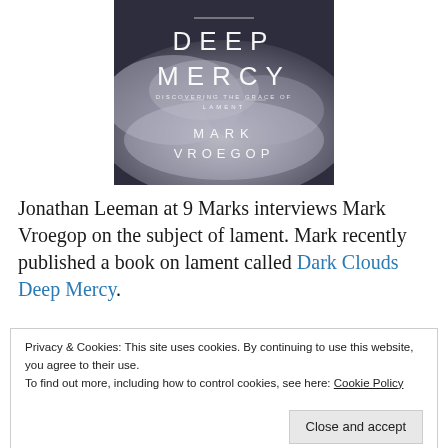[Figure (illustration): Book cover of 'Dark Clouds Deep Mercy: Discovering the Grace of Lament' by Mark Vroegop. Dark stormy cloudy sky background with white text.]
Jonathan Leeman at 9 Marks interviews Mark Vroegop on the subject of lament. Mark recently published a book on lament called Dark Clouds Deep Mercy.
Privacy & Cookies: This site uses cookies. By continuing to use this website, you agree to their use.
To find out more, including how to control cookies, see here: Cookie Policy
Close and accept